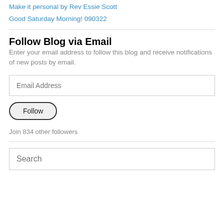Make it personal by Rev Essie Scott
Good Saturday Morning! 090322
Follow Blog via Email
Enter your email address to follow this blog and receive notifications of new posts by email.
Email Address
Follow
Join 834 other followers
Search